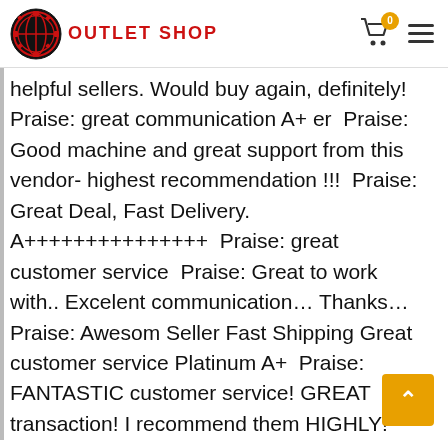OUTLET SHOP
helpful sellers. Would buy again, definitely!  Praise: great communication A+ er  Praise: Good machine and great support from this vendor- highest recommendation !!!  Praise: Great Deal, Fast Delivery. A+++++++++++++++  Praise: great customer service  Praise: Great to work with.. Excelent communication… Thanks…  Praise: Awesom Seller Fast Shipping Great customer service Platinum A+  Praise: FANTASTIC customer service! GREAT transaction! I recommend them HIGHLY!  Praise: Received my sewing machine, on time, great sellers ….and helpful Thanks much !  Praise: Exellent people, fast, willing to help….  Praise: Thanks!  Praise: received a quick response from seller and much more  Praise: Wonderful to deal with! Easy transaction and they go the extra mile!! Very happy